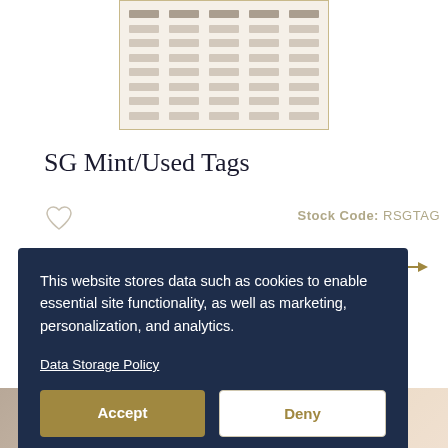[Figure (table-as-image): A blurred/small preview image of a stamp catalog table with rows and columns showing mint/used tag data, cream/beige background with tan border]
SG Mint/Used Tags
Stock Code: RSGTAG
This website stores data such as cookies to enable essential site functionality, as well as marketing, personalization, and analytics.

Data Storage Policy
Accept
Deny
[Figure (photo): Bottom portion showing partial product images cropped at the page edge]